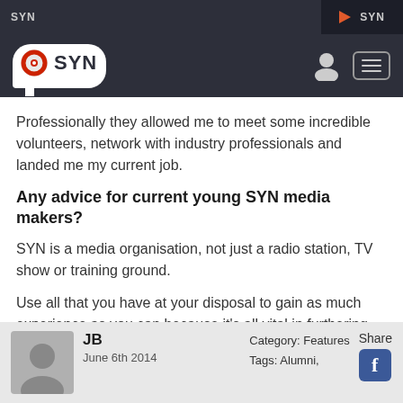SYN | SYN
Professionally they allowed me to meet some incredible volunteers, network with industry professionals and landed me my current job.
Any advice for current young SYN media makers?
SYN is a media organisation, not just a radio station, TV show or training ground.
Use all that you have at your disposal to gain as much experience as you can because it's all vital in furthering you in a career down the track.
JB
June 6th 2014
Category: Features
Tags: Alumni,
Share